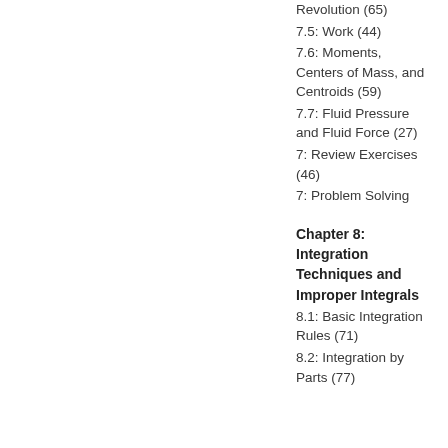Revolution (65)
7.5: Work (44)
7.6: Moments, Centers of Mass, and Centroids (59)
7.7: Fluid Pressure and Fluid Force (27)
7: Review Exercises (46)
7: Problem Solving
Chapter 8: Integration Techniques and Improper Integrals
8.1: Basic Integration Rules (71)
8.2: Integration by Parts (77)